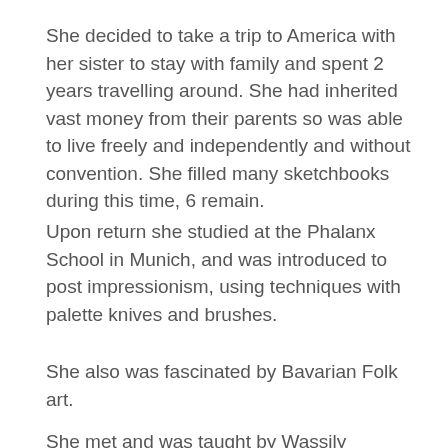She decided to take a trip to America with her sister to stay with family and spent 2 years travelling around. She had inherited vast money from their parents so was able to live freely and independently and without convention. She filled many sketchbooks during this time, 6 remain.
Upon return she studied at the Phalanx School in Munich, and was introduced to post impressionism, using techniques with palette knives and brushes.
She also was fascinated by Bavarian Folk art.
She met and was taught by Wassily Kandinsky, who